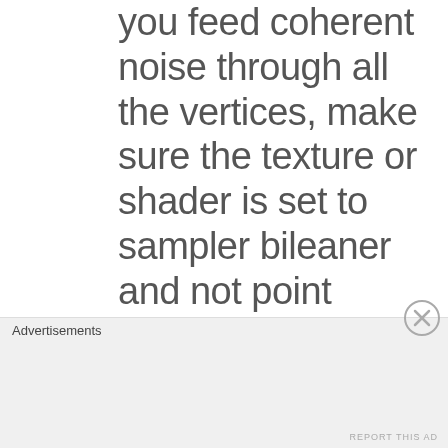you feed coherent noise through all the vertices, make sure the texture or shader is set to sampler bileaner and not point otherwise the transition
Advertisements